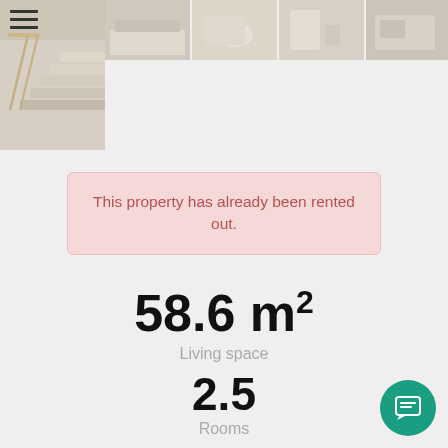[Figure (photo): Staircase interior photo and grid of room thumbnails (kitchen, bathrooms, bedroom)]
This property has already been rented out.
58.6 m²
Living space
2.5
Rooms